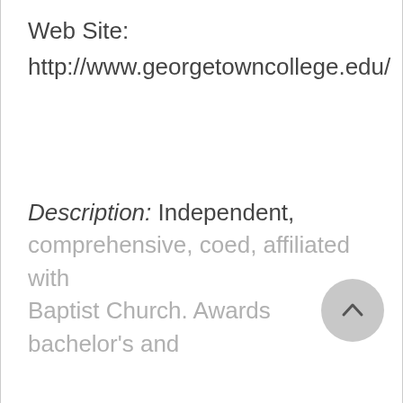Web Site:
http://www.georgetowncollege.edu/
Description: Independent, comprehensive, coed, affiliated with Baptist Church. Awards bachelor's and